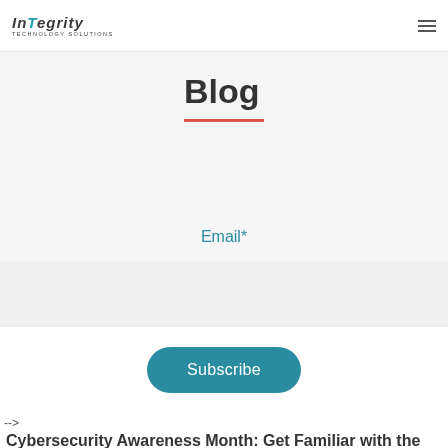Integrity Technology Solutions
Blog
Email*
Subscribe
-->
Cybersecurity Awareness Month: Get Familiar with the